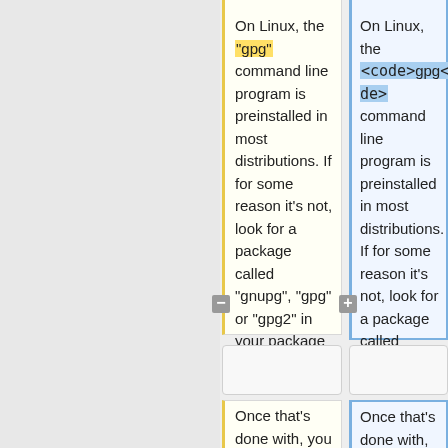On Linux, the "gpg" command line program is preinstalled in most distributions. If for some reason it's not, look for a package called "gnupg", "gpg" or "gpg2" in your package manager.
On Linux, the <code>gpg</code> command line program is preinstalled in most distributions. If for some reason it's not, look for a package called "gnupg", "gpg" or "gpg2" in your package manager.
Once that's done with, you run the following GPG commands to import and trust the key which Electrum binaries
Once that's done with, you run the following GPG commands to import and trust the key which Electrum binaries